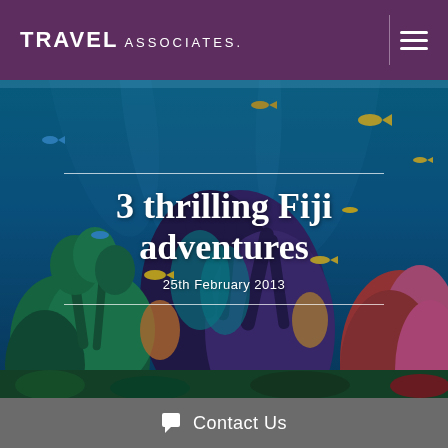TRAVEL ASSOCIATES.
[Figure (photo): Underwater coral reef scene with colorful corals (blue, pink, red, green) and tropical fish swimming among coral formations in clear blue water]
3 thrilling Fiji adventures
25th February 2013
Contact Us